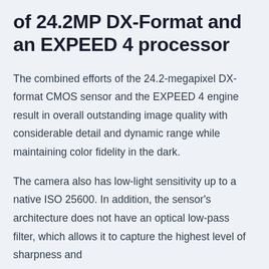of 24.2MP DX-Format and an EXPEED 4 processor
The combined efforts of the 24.2-megapixel DX-format CMOS sensor and the EXPEED 4 engine result in overall outstanding image quality with considerable detail and dynamic range while maintaining color fidelity in the dark.
The camera also has low-light sensitivity up to a native ISO 25600. In addition, the sensor's architecture does not have an optical low-pass filter, which allows it to capture the highest level of sharpness and